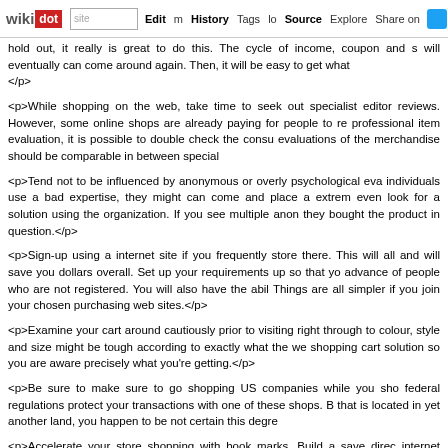wikidot | site | Edit | History | Tags | Source | Explore | Share on [Twitter]
hold out, it really is great to do this. The cycle of income, coupon and s will eventually can come around again. Then, it will be easy to get what </p>
<p>While shopping on the web, take time to seek out specialist editor reviews. However, some online shops are already paying for people to re professional item evaluation, it is possible to double check the consu evaluations of the merchandise should be comparable in between special
<p>Tend not to be influenced by anonymous or overly psychological eva individuals use a bad expertise, they might can come and place a extrem even look for a solution using the organization. If you see multiple anon they bought the product in question.</p>
<p>Sign-up using a internet site if you frequently store there. This will all and will save you dollars overall. Set up your requirements up so that yo advance of people who are not registered. You will also have the abil Things are all simpler if you join your chosen purchasing web sites.</p>
<p>Examine your cart around cautiously prior to visiting right through to colour, style and size might be tough according to exactly what the we shopping cart solution so you are aware precisely what you're getting.</p>
<p>Be sure to make sure to go shopping US companies while you sho federal regulations protect your transactions with one of these shops. B that is located in yet another land, you happen to be not certain this degre
<p>Accelerate your store shopping with book marks. Build a save direc internet sites. When you are looking for a product or service on the inte through internet sites till you find the appropriate product in the prope se